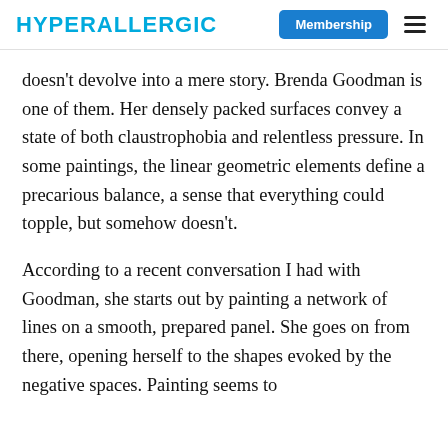HYPERALLERGIC | Membership
doesn't devolve into a mere story. Brenda Goodman is one of them. Her densely packed surfaces convey a state of both claustrophobia and relentless pressure. In some paintings, the linear geometric elements define a precarious balance, a sense that everything could topple, but somehow doesn't.
According to a recent conversation I had with Goodman, she starts out by painting a network of lines on a smooth, prepared panel. She goes on from there, opening herself to the shapes evoked by the negative spaces. Painting seems to